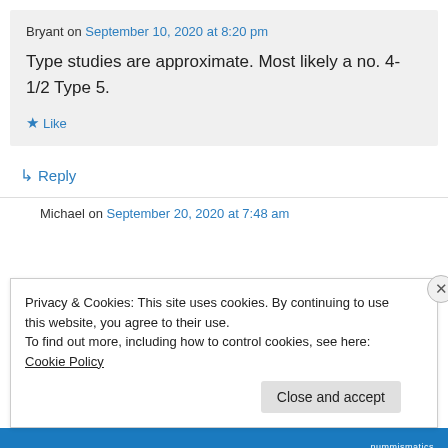Bryant on September 10, 2020 at 8:20 pm
Type studies are approximate. Most likely a no. 4-1/2 Type 5.
★ Like
↳ Reply
Michael on September 20, 2020 at 7:48 am
Privacy & Cookies: This site uses cookies. By continuing to use this website, you agree to their use. To find out more, including how to control cookies, see here: Cookie Policy
Close and accept